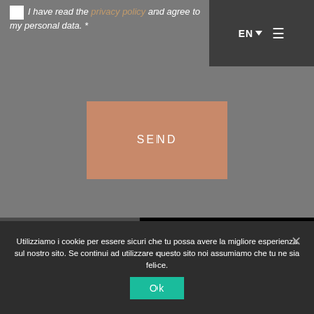I have read the privacy policy and agree to my personal data. *
EN ▾ ≡
SEND
[Figure (logo): Scent Company Olfactory Branding Made in Italy logo on dark gray background with black curve decoration]
Utilizziamo i cookie per essere sicuri che tu possa avere la migliore esperienza sul nostro sito. Se continui ad utilizzare questo sito noi assumiamo che tu ne sia felice.
Ok